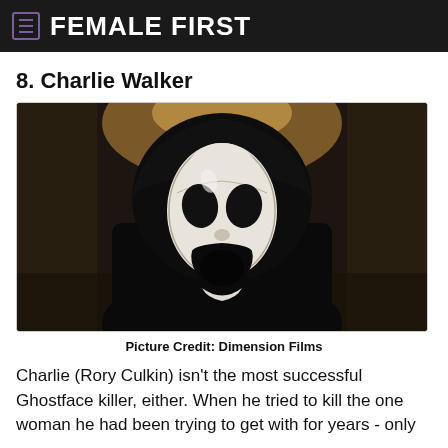FEMALE FIRST
8. Charlie Walker
[Figure (photo): Ghostface killer wearing the iconic white ghost mask and black hood/robe, standing in a dimly lit hallway with warm overhead lighting in the background.]
Picture Credit: Dimension Films
Charlie (Rory Culkin) isn't the most successful Ghostface killer, either. When he tried to kill the one woman he had been trying to get with for years - only